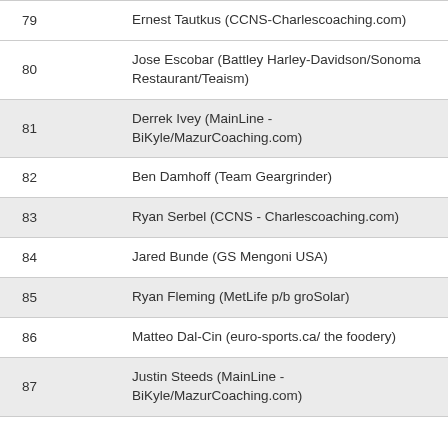| # | Name |
| --- | --- |
| 79 | Ernest Tautkus (CCNS-Charlescoaching.com) |
| 80 | Jose Escobar (Battley Harley-Davidson/Sonoma Restaurant/Teaism) |
| 81 | Derrek Ivey (MainLine - BiKyle/MazurCoaching.com) |
| 82 | Ben Damhoff (Team Geargrinder) |
| 83 | Ryan Serbel (CCNS - Charlescoaching.com) |
| 84 | Jared Bunde (GS Mengoni USA) |
| 85 | Ryan Fleming (MetLife p/b groSolar) |
| 86 | Matteo Dal-Cin (euro-sports.ca/ the foodery) |
| 87 | Justin Steeds (MainLine - BiKyle/MazurCoaching.com) |